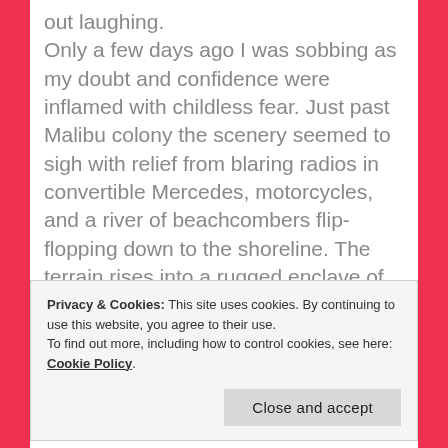out laughing. Only a few days ago I was sobbing as my doubt and confidence were inflamed with childless fear. Just past Malibu colony the scenery seemed to sigh with relief from blaring radios in convertible Mercedes, motorcycles, and a river of beachcombers flip-flopping down to the shoreline. The terrain rises into a rugged enclave of sand crusted boulders, as I passed the perfectly
Privacy & Cookies: This site uses cookies. By continuing to use this website, you agree to their use. To find out more, including how to control cookies, see here: Cookie Policy
and parked in front of the house. She